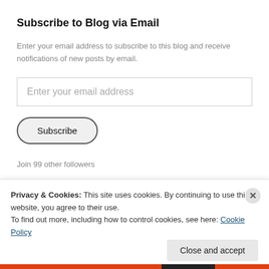Subscribe to Blog via Email
Enter your email address to subscribe to this blog and receive notifications of new posts by email.
Enter your email address
Subscribe
Join 99 other followers
Privacy & Cookies: This site uses cookies. By continuing to use this website, you agree to their use.
To find out more, including how to control cookies, see here: Cookie Policy
Close and accept